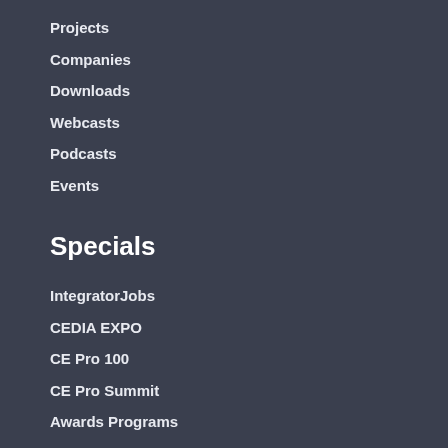Projects
Companies
Downloads
Webcasts
Podcasts
Events
Specials
IntegratorJobs
CEDIA EXPO
CE Pro 100
CE Pro Summit
Awards Programs
Company Info
About
Contact Us